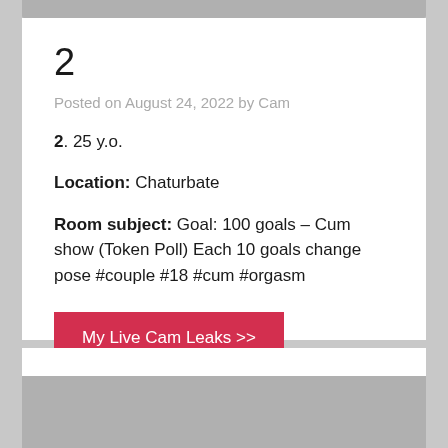2
Posted on August 24, 2022 by Cam
2. 25 y.o.
Location: Chaturbate
Room subject: Goal: 100 goals – Cum show (Token Poll) Each 10 goals change pose #couple #18 #cum #orgasm
My Live Cam Leaks >>